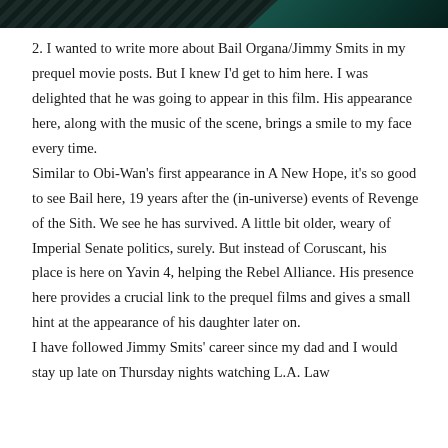[Figure (other): Dark decorative header bar with diagonal teal/dark pattern and accent]
2. I wanted to write more about Bail Organa/Jimmy Smits in my prequel movie posts. But I knew I'd get to him here. I was delighted that he was going to appear in this film. His appearance here, along with the music of the scene, brings a smile to my face every time.
Similar to Obi-Wan's first appearance in A New Hope, it's so good to see Bail here, 19 years after the (in-universe) events of Revenge of the Sith. We see he has survived. A little bit older, weary of Imperial Senate politics, surely. But instead of Coruscant, his place is here on Yavin 4, helping the Rebel Alliance. His presence here provides a crucial link to the prequel films and gives a small hint at the appearance of his daughter later on.
I have followed Jimmy Smits' career since my dad and I would stay up late on Thursday nights watching L.A. Law